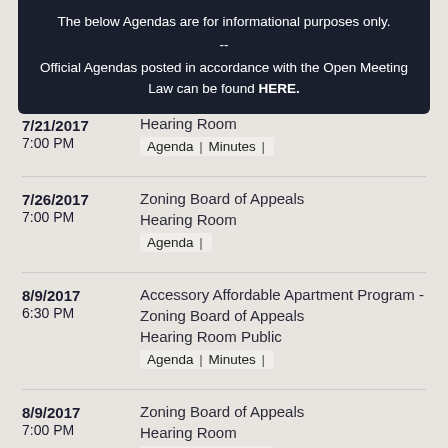The below Agendas are for informational purposes only. -- Official Agendas posted in accordance with the Open Meeting Law can be found HERE.
7/21/2017 7:00 PM | Hearing Room | Agenda | Minutes |
7/26/2017 7:00 PM | Zoning Board of Appeals | Hearing Room | Agenda |
8/9/2017 6:30 PM | Accessory Affordable Apartment Program - Zoning Board of Appeals | Hearing Room Public | Agenda | Minutes |
8/9/2017 7:00 PM | Zoning Board of Appeals | Hearing Room | Agenda | Minutes |